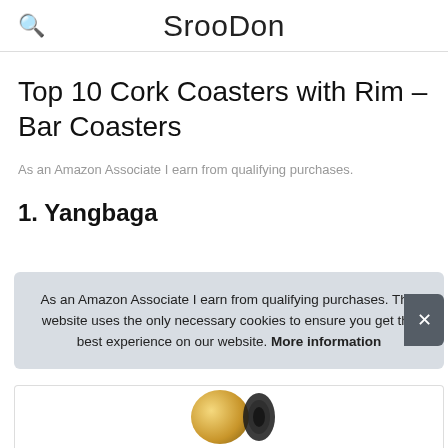SrooDon
Top 10 Cork Coasters with Rim – Bar Coasters
As an Amazon Associate I earn from qualifying purchases.
1. Yangbaga
#ad
As an Amazon Associate I earn from qualifying purchases. This website uses the only necessary cookies to ensure you get the best experience on our website. More information
[Figure (photo): Product image showing a cork coaster with rim]